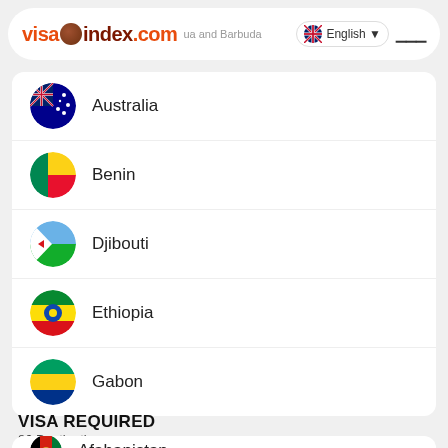visaindex.com — Antigua and Barbuda — English
Australia
Benin
Djibouti
Ethiopia
Gabon
VISA REQUIRED
86 Destinations
Afghanistan